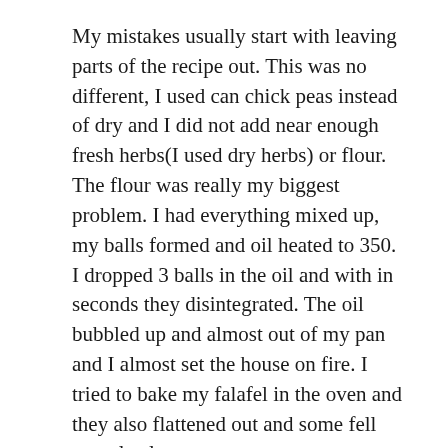My mistakes usually start with leaving parts of the recipe out. This was no different, I used can chick peas instead of dry and I did not add near enough fresh herbs(I used dry herbs) or flour. The flour was really my biggest problem. I had everything mixed up, my balls formed and oil heated to 350. I dropped 3 balls in the oil and with in seconds they disintegrated. The oil bubbled up and almost out of my pan and I almost set the house on fire. I tried to bake my falafel in the oven and they also flattened out and some fell completely apart.
Looking Back. . .
Looking back, I should have added all of the